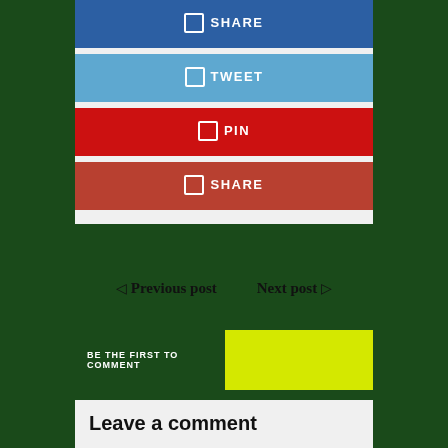SHARE
TWEET
PIN
SHARE
Previous post   Next post
BE THE FIRST TO COMMENT
Leave a comment